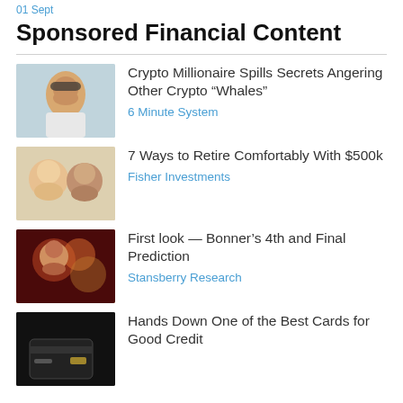01 Sept
Sponsored Financial Content
Crypto Millionaire Spills Secrets Angering Other Crypto “Whales” | 6 Minute System
7 Ways to Retire Comfortably With $500k | Fisher Investments
First look — Bonner’s 4th and Final Prediction | Stansberry Research
Hands Down One of the Best Cards for Good Credit